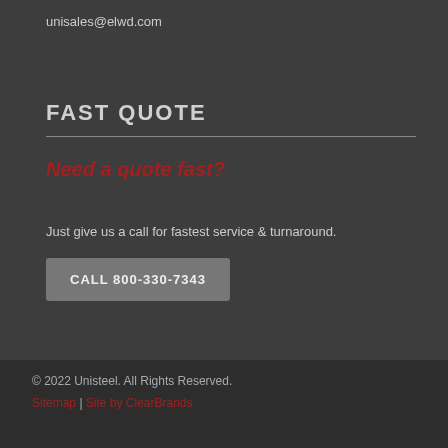unisales@elwd.com
FAST QUOTE
Need a quote fast?
Just give us a call for fastest service & turnaround.
CALL 800-330-7343
© 2022 Unisteel. All Rights Reserved.
Sitemap | Site by ClearBrands